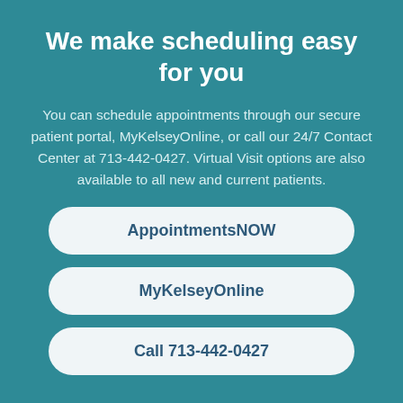We make scheduling easy for you
You can schedule appointments through our secure patient portal, MyKelseyOnline, or call our 24/7 Contact Center at 713-442-0427. Virtual Visit options are also available to all new and current patients.
AppointmentsNOW
MyKelseyOnline
Call 713-442-0427